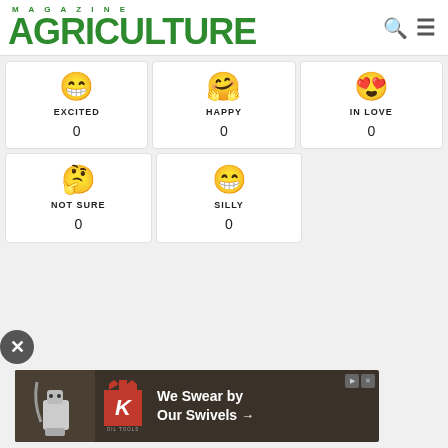AGRICULTURE MAGAZINE
[Figure (infographic): Emoji reaction cards grid: EXCITED (😁, 0), HAPPY (🤗, 0), IN LOVE (😍, 0), NOT SURE (🤔, 0), SILLY (😁, 0)]
[Figure (infographic): King Oil Tools advertisement banner: 'We Swear by Our Swivels →']